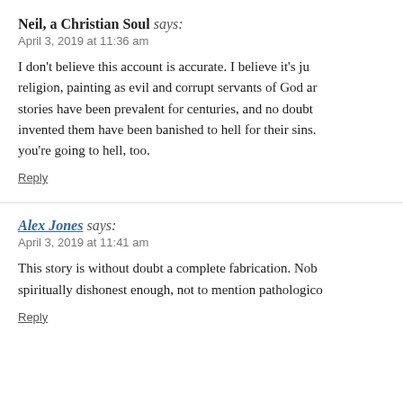Neil, a Christian Soul says: April 3, 2019 at 11:36 am
I don't believe this account is accurate. I believe it's just anti-religion, painting as evil and corrupt servants of God and stories have been prevalent for centuries, and no doubt those who invented them have been banished to hell for their sins. I guess you're going to hell, too.
Reply
Alex Jones says: April 3, 2019 at 11:41 am
This story is without doubt a complete fabrication. Nobody spiritually dishonest enough, not to mention pathologically...
Reply